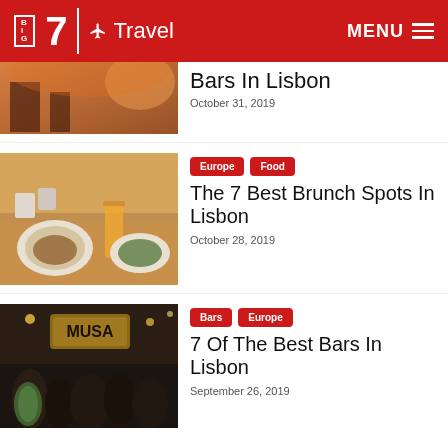Big 7 Travel | MENU
[Figure (photo): Partial view of a sunset/bar scene photo]
Bars In Lisbon
October 31, 2019
[Figure (photo): Brunch food spread on a table with orange juice and plates]
Europe
Food
The 7 Best Brunch Spots In Lisbon
October 28, 2019
[Figure (photo): Busy MUSA bar scene with crowd at night]
Bars
Europe
7 Of The Best Bars In Lisbon
September 26, 2019